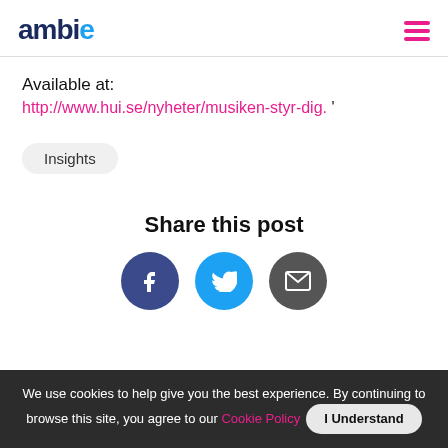ambie [logo] [hamburger menu]
Available at:
http://www.hui.se/nyheter/musiken-styr-dig. '
Insights
Share this post
[Figure (illustration): Three circular social share buttons: Facebook (dark blue with f icon), Twitter (light blue with bird icon), Email (dark grey with envelope icon)]
We use cookies to help give you the best experience. By continuing to browse this site, you agree to our Cookie Policy  I Understand